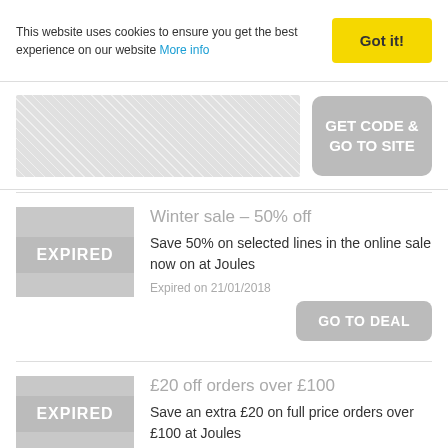This website uses cookies to ensure you get the best experience on our website More info
Got it!
[Figure (other): Decorative pattern banner placeholder with GET CODE & GO TO SITE button]
GET CODE & GO TO SITE
[Figure (other): Expired coupon thumbnail for Winter sale]
Winter sale – 50% off
Save 50% on selected lines in the online sale now on at Joules
Expired on 21/01/2018
GO TO DEAL
[Figure (other): Expired coupon thumbnail for £20 off orders over £100]
£20 off orders over £100
Save an extra £20 on full price orders over £100 at Joules